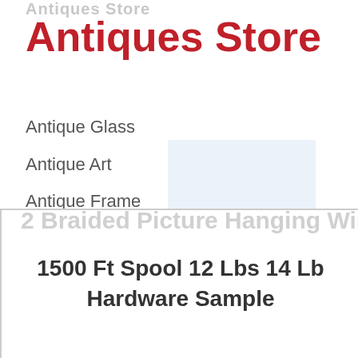Antiques Store
Antiques Store
Antique Glass
Antique Art
Antique Frame
Antique Mirror
Antique Jug
Antique Painting
2 Braided Picture Hanging Wire 1500 Ft Spool 12 Lbs 14 Lb Hardware Sample